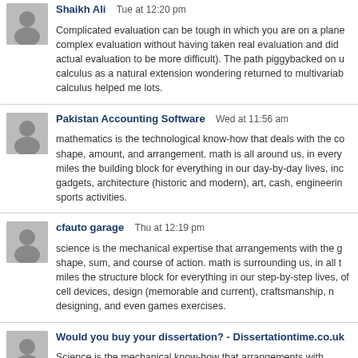Shaikh Ali   Tue at 12:20 pm
Complicated evaluation can be tough in which you are on a plane complex evaluation without having taken real evaluation and did actual evaluation to be more difficult). The path piggybacked on calculus as a natural extension wondering returned to multivariab calculus helped me lots.
Pakistan Accounting Software   Wed at 11:56 am
mathematics is the technological know-how that deals with the shape, amount, and arrangement. math is all around us, in every miles the building block for everything in our day-by-day lives, inc gadgets, architecture (historic and modern), art, cash, engineerin sports activities.
cfauto garage   Thu at 12:19 pm
science is the mechanical expertise that arrangements with the shape, sum, and course of action. math is surrounding us, in all miles the structure block for everything in our step-by-step lives, of cell devices, design (memorable and current), craftsmanship, designing, and even games exercises.
Would you buy your dissertation? - Dissertationtime.co.uk
Science is the mechanical know-how that arrangements with